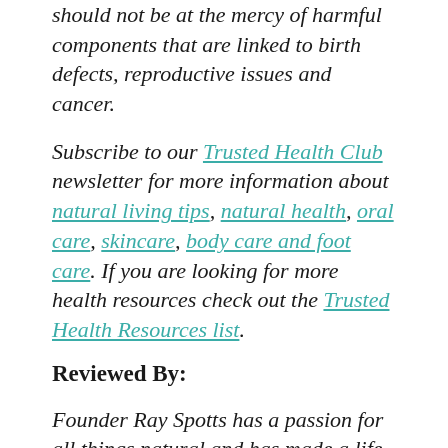should not be at the mercy of harmful components that are linked to birth defects, reproductive issues and cancer.
Subscribe to our Trusted Health Club newsletter for more information about natural living tips, natural health, oral care, skincare, body care and foot care. If you are looking for more health resources check out the Trusted Health Resources list.
Reviewed By:
Founder Ray Spotts has a passion for all things natural and has made a life study of nature as it relates to health and well-being. Ray